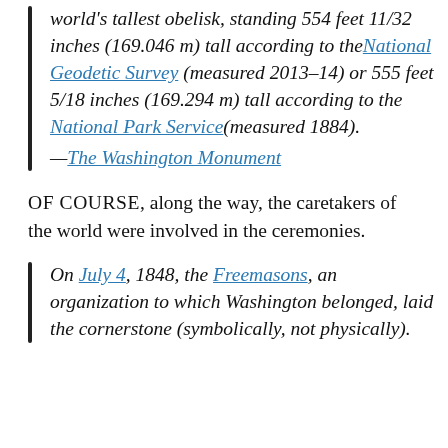world's tallest obelisk, standing 554 feet 11/32 inches (169.046 m) tall according to the National Geodetic Survey (measured 2013–14) or 555 feet 5/18 inches (169.294 m) tall according to the National Park Service(measured 1884). —The Washington Monument
OF COURSE, along the way, the caretakers of the world were involved in the ceremonies.
On July 4, 1848, the Freemasons, an organization to which Washington belonged, laid the cornerstone (symbolically, not physically).